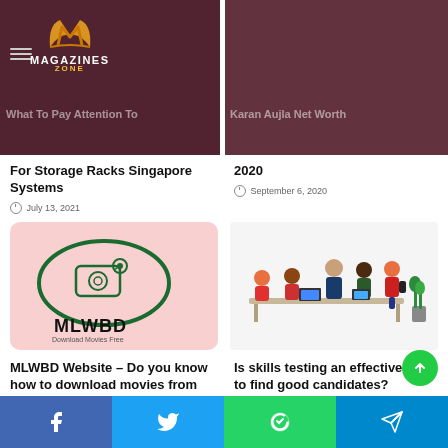[Figure (screenshot): Website header with Magazines Zone logo on dark maroon background with two article thumbnails]
What To Pay Attention To For Storage Racks Singapore Systems
July 13, 2021
Karan Aujla Net Worth 2020
September 6, 2020
[Figure (logo): MLWBD logo - movie camera with oval border, text MLWBD Download Movies Free on pink background]
MLWBD Website – Do you know how to download movies from this website?
February 17, 2021
[Figure (illustration): Business people working at a desk in a team meeting illustration]
Is skills testing an effective way to find good candidates?
June 29, 2021
[Figure (infographic): Social media sharing bar with Facebook, Twitter, WhatsApp, and Telegram buttons]